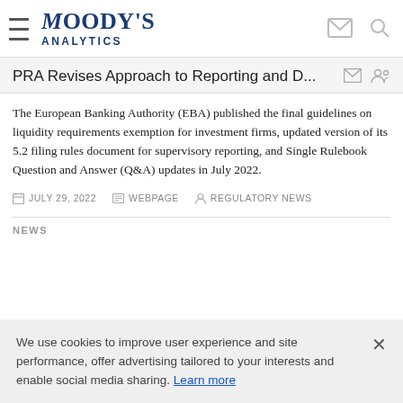Moody's Analytics
PRA Revises Approach to Reporting and D...
The European Banking Authority (EBA) published the final guidelines on liquidity requirements exemption for investment firms, updated version of its 5.2 filing rules document for supervisory reporting, and Single Rulebook Question and Answer (Q&A) updates in July 2022.
JULY 29, 2022   WEBPAGE   REGULATORY NEWS
NEWS
We use cookies to improve user experience and site performance, offer advertising tailored to your interests and enable social media sharing. Learn more